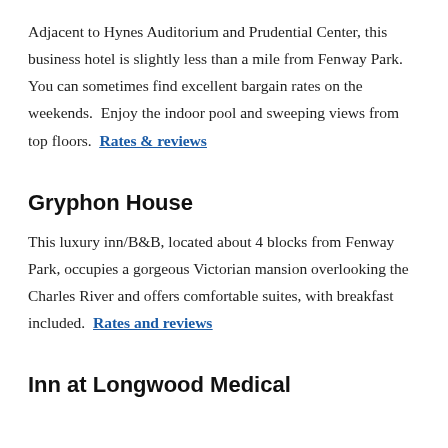Adjacent to Hynes Auditorium and Prudential Center, this business hotel is slightly less than a mile from Fenway Park.  You can sometimes find excellent bargain rates on the weekends.  Enjoy the indoor pool and sweeping views from top floors.  Rates & reviews
Gryphon House
This luxury inn/B&B, located about 4 blocks from Fenway Park, occupies a gorgeous Victorian mansion overlooking the Charles River and offers comfortable suites, with breakfast included.  Rates and reviews
Inn at Longwood Medical